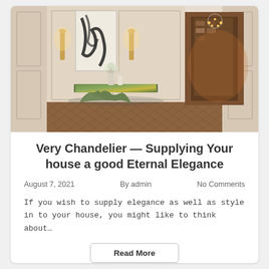[Figure (photo): Interior design photo showing an elegant entryway with a sculptural green marble console table, tall wall sconces with warm lighting, a large abstract black and white artwork, white paneled walls, herringbone wood floor, and a glimpse into a warmly lit bookshelf room through open doors.]
Very Chandelier — Supplying Your house a good Eternal Elegance
August 7, 2021    By admin    No Comments
If you wish to supply elegance as well as style in to your house, you might like to think about…
Read More